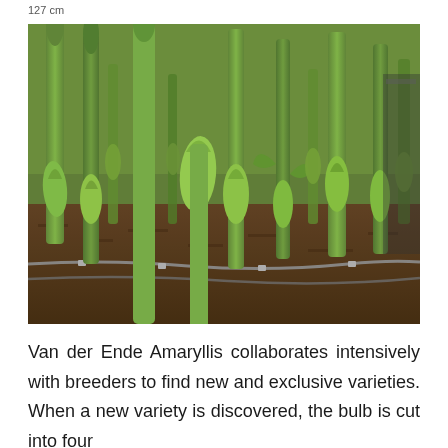127 cm
[Figure (photo): Close-up photograph of amaryllis bulb shoots growing in soil rows, with drip irrigation lines visible between the plants. The green shoots are tightly closed buds on tall stems, planted densely in dark soil.]
Van der Ende Amaryllis collaborates intensively with breeders to find new and exclusive varieties. When a new variety is discovered, the bulb is cut into four